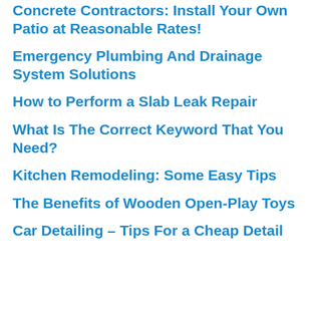Concrete Contractors: Install Your Own Patio at Reasonable Rates!
Emergency Plumbing And Drainage System Solutions
How to Perform a Slab Leak Repair
What Is The Correct Keyword That You Need?
Kitchen Remodeling: Some Easy Tips
The Benefits of Wooden Open-Play Toys
Car Detailing – Tips For a Cheap Detail